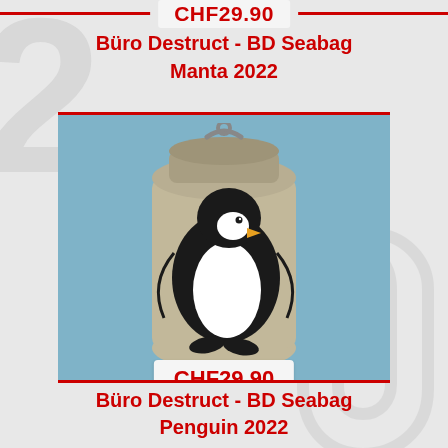CHF29.90
Büro Destruct - BD Seabag Manta 2022
[Figure (photo): A cylindrical dry bag / seabag in beige/khaki color with a black and white penguin graphic printed on it, closed with a roll-top closure with a metal ring handle, photographed against a light blue background.]
CHF29.90
Büro Destruct - BD Seabag Penguin 2022